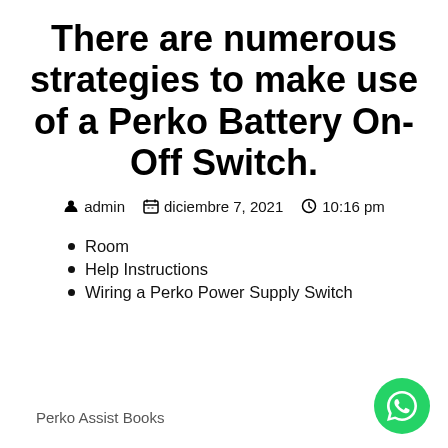There are numerous strategies to make use of a Perko Battery On-Off Switch.
admin  diciembre 7, 2021  10:16 pm
Room
Help Instructions
Wiring a Perko Power Supply Switch
Perko Assist Books